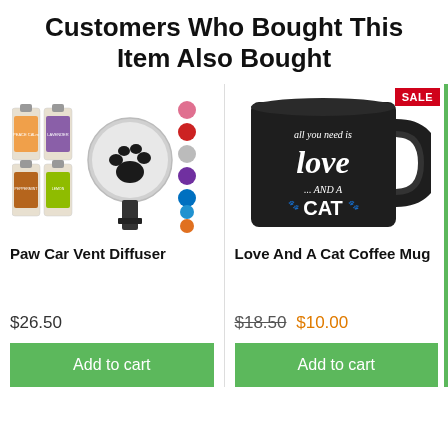Customers Who Bought This Item Also Bought
[Figure (photo): Paw Car Vent Diffuser product image showing essential oil bottles, a paw print car vent diffuser clip, and color swatches]
[Figure (photo): Love And A Cat Coffee Mug - black mug with white text reading 'All you need is love ... AND A CAT' with a SALE badge]
Paw Car Vent Diffuser
Love And A Cat Coffee Mug
$26.50
$18.50 $10.00
Add to cart
Add to cart